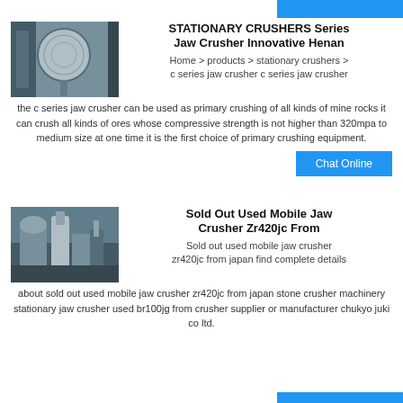[Figure (photo): Industrial cylindrical ball mill or crusher machine in a factory setting, grey cylindrical body with perforations, blue metallic structure behind]
STATIONARY CRUSHERS Series Jaw Crusher Innovative Henan
Home > products > stationary crushers > c series jaw crusher c series jaw crusher the c series jaw crusher can be used as primary crushing of all kinds of mine rocks it can crush all kinds of ores whose compressive strength is not higher than 320mpa to medium size at one time it is the first choice of primary crushing equipment.
[Figure (photo): Mobile jaw crusher machinery in an industrial building, white and grey equipment with pipes and components visible]
Sold Out Used Mobile Jaw Crusher Zr420jc From
Sold out used mobile jaw crusher zr420jc from japan find complete details about sold out used mobile jaw crusher zr420jc from japan stone crusher machinery stationary jaw crusher used br100jg from crusher supplier or manufacturer chukyo juki co ltd.